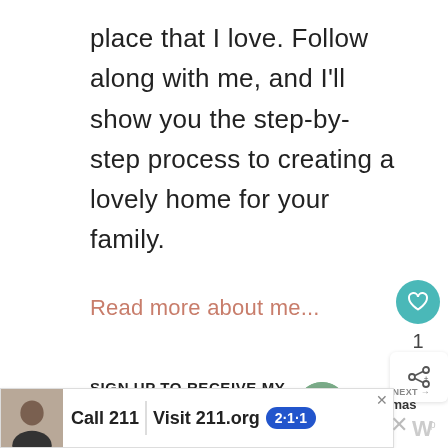place that I love. Follow along with me, and I'll show you the step-by-step process to creating a lovely home for your family.
Read more about me...
SIGN UP TO RECEIVE MY NEWSLETTERS
Email Address
[Figure (screenshot): Advertisement banner: photo of a person, 'Call 211 | Visit 211.org' with 2·1·1 badge logo]
WHAT'S NEXT → Christmas Card...